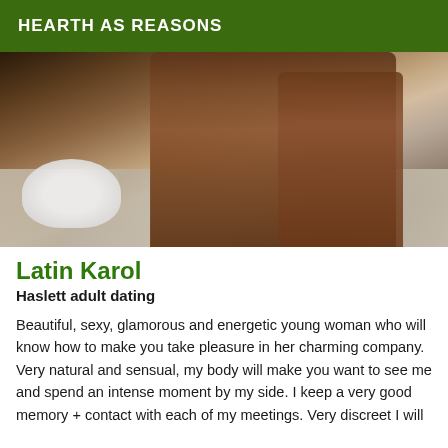HEARTH AS REASONS
[Figure (photo): Blurred photo showing legs standing on a tiled/granite bathroom floor surface with a white object in the lower left corner]
Latin Karol
Haslett adult dating
Beautiful, sexy, glamorous and energetic young woman who will know how to make you take pleasure in her charming company. Very natural and sensual, my body will make you want to see me and spend an intense moment by my side. I keep a very good memory + contact with each of my meetings. Very discreet I will